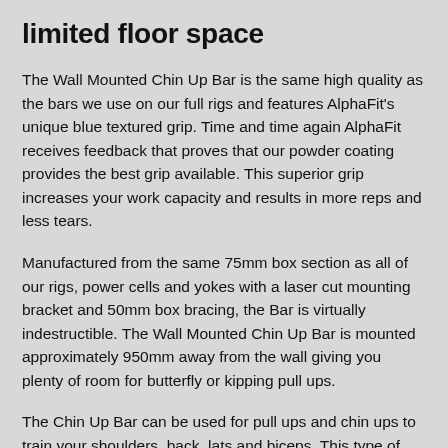limited floor space
The Wall Mounted Chin Up Bar is the same high quality as the bars we use on our full rigs and features AlphaFit's unique blue textured grip. Time and time again AlphaFit receives feedback that proves that our powder coating provides the best grip available. This superior grip increases your work capacity and results in more reps and less tears.
Manufactured from the same 75mm box section as all of our rigs, power cells and yokes with a laser cut mounting bracket and 50mm box bracing, the Bar is virtually indestructible. The Wall Mounted Chin Up Bar is mounted approximately 950mm away from the wall giving you plenty of room for butterfly or kipping pull ups.
The Chin Up Bar can be used for pull ups and chin ups to train your shoulders, back, lats and biceps. This type of strength training is beneficial for an extensive range of sports and having a Chin Up Bar at home gives you the opportunity to squeeze in some extra reps for increased strength, skill and performance. The Bar can also be used